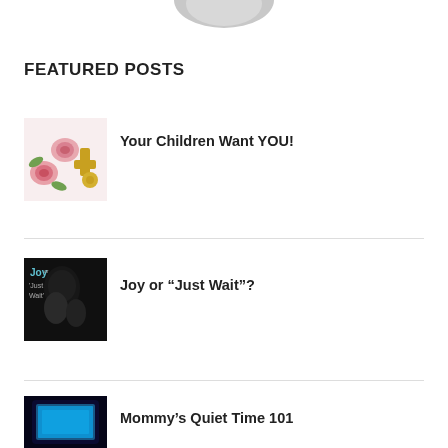[Figure (photo): Partial circular profile image cropped at top of page]
FEATURED POSTS
[Figure (photo): Thumbnail image of pink roses and gold decorations]
Your Children Want YOU!
[Figure (photo): Thumbnail image of book cover: Joy or Just Wait]
Joy or “Just Wait”?
[Figure (photo): Thumbnail image of a glowing blue tablet/device]
Mommy’s Quiet Time 101